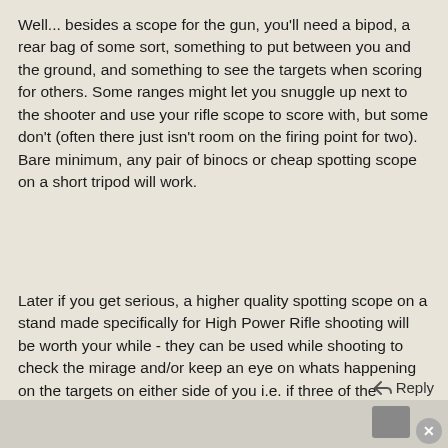Well... besides a scope for the gun, you'll need a bipod, a rear bag of some sort, something to put between you and the ground, and something to see the targets when scoring for others. Some ranges might let you snuggle up next to the shooter and use your rifle scope to score with, but some don't (often there just isn't room on the firing point for two). Bare minimum, any pair of binocs or cheap spotting scope on a short tripod will work.
Later if you get serious, a higher quality spotting scope on a stand made specifically for High Power Rifle shooting will be worth your while - they can be used while shooting to check the mirage and/or keep an eye on whats happening on the targets on either side of you i.e. if three of the shooters next to you all dropped a shoot out downwind, you may want to hold up and re-assess what you think is going on.